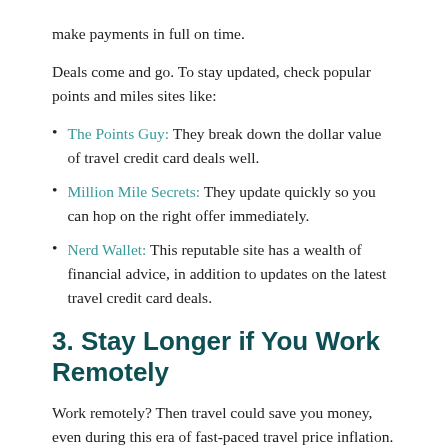make payments in full on time.
Deals come and go. To stay updated, check popular points and miles sites like:
The Points Guy: They break down the dollar value of travel credit card deals well.
Million Mile Secrets: They update quickly so you can hop on the right offer immediately.
Nerd Wallet: This reputable site has a wealth of financial advice, in addition to updates on the latest travel credit card deals.
3. Stay Longer if You Work Remotely
Work remotely? Then travel could save you money, even during this era of fast-paced travel price inflation.